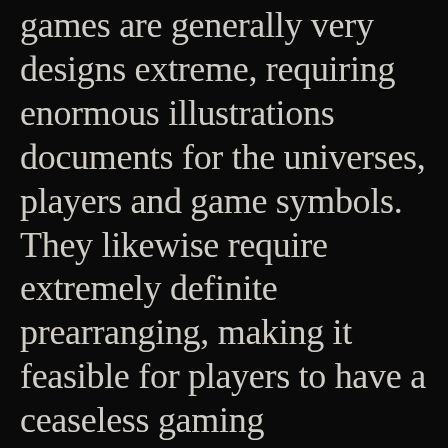games are generally very designs extreme, requiring enormous illustrations documents for the universes, players and game symbols. They likewise require extremely definite prearranging, making it feasible for players to have a ceaseless gaming experience. However a solitary player pretending game has a particular start and end, these สล็อตเว็บตรง legendary web based games are persistent. New plots and highlights are in effect continually added, requiring the utilization of